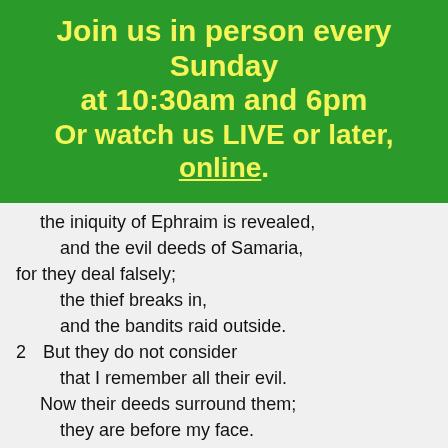Join us in person every Sunday at 10:30am and 6pm
Or watch us LIVE or later, online.
the iniquity of Ephraim is revealed,
  and the evil deeds of Samaria,
for they deal falsely;
  the thief breaks in,
  and the bandits raid outside.
2  But they do not consider
  that I remember all their evil.
  Now their deeds surround them;
  they are before my face.
3  By their evil they make the king glad,
  and the princes by their treachery.
4  They are all adulterers;
  they are like a heated oven
  whose baker ceases to stir the fire,
  from the kneading of the dough